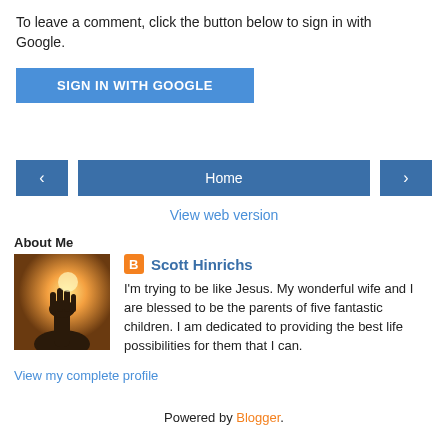To leave a comment, click the button below to sign in with Google.
[Figure (other): Blue 'SIGN IN WITH GOOGLE' button]
[Figure (other): Navigation bar with left arrow button, Home button, and right arrow button]
View web version
About Me
[Figure (photo): Profile photo showing a hand raised against a bright sunlit sky]
Scott Hinrichs
I'm trying to be like Jesus. My wonderful wife and I are blessed to be the parents of five fantastic children. I am dedicated to providing the best life possibilities for them that I can.
View my complete profile
Powered by Blogger.